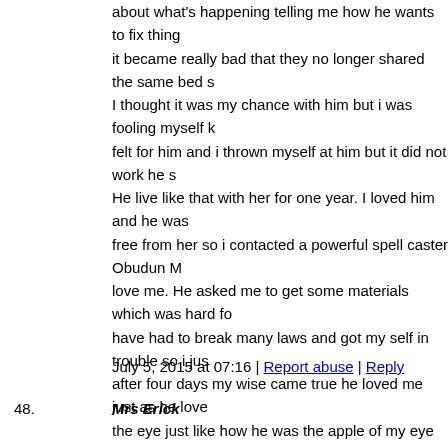about what's happening telling me how he wants to fix thing it became really bad that they no longer shared the same bed I thought it was my chance with him but i was fooling myself felt for him and i thrown myself at him but it did not work he He live like that with her for one year. I loved him and he was free from her so i contacted a powerful spell caster Obudun M love me. He asked me to get some materials which was hard f have had to break many laws and got my self in trouble so i ju after four days my wise came true he loved me just as he love the eye just like how he was the apple of my eye but Obudun wife would let let us be and she will frustrate our love until we it happened he wanted 70% of everything my husband had an favor plus she was from a very powerful family. That brought to loss all he had for us but still he did not want to loss them He helped use with another spell that made her drop the case use be together. I t was mind blowing what Obudun Magonata read now it was so supernatural. Even before i had my first chi forever till death because of the two kids i will bear for him. It years old son and i am pregnant for the second child now.Only Magonata have helped knows how powerful he is. Only him c need his help use this email spiritsofobudunmagonata AT yaho in the standard email format to use,
July 5, 2015 at 07:16 | Report abuse | Reply
48. Mrs Erick